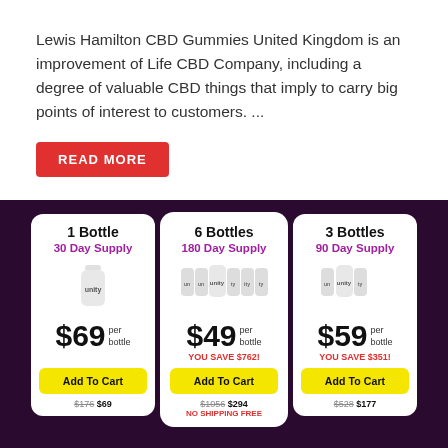Lewis Hamilton CBD Gummies United Kingdom is an improvement of Life CBD Company, including a degree of valuable CBD things that imply to carry big points of interest to customers. ...
READ MORE
[Figure (infographic): Pricing cards on dark purple background showing 3 product options: 1 Bottle 30 Day Supply $69/bottle Add To Cart $176 $69; 6 Bottles 180 Day Supply $49/bottle YOU SAVE $762! Add To Cart $1056 $294 NO SHIPPING FREE; 3 Bottles 90 Day Supply $59/bottle YOU SAVE $351! Add To Cart $528 $177]